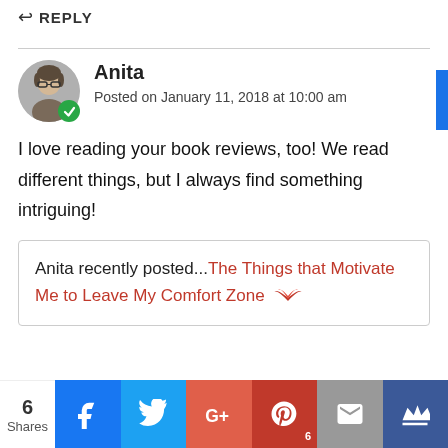↩ REPLY
Anita
Posted on January 11, 2018 at 10:00 am
I love reading your book reviews, too! We read different things, but I always find something intriguing!
Anita recently posted...The Things that Motivate Me to Leave My Comfort Zone
6 Shares | Facebook | Twitter | Google+ | Pinterest 6 | Email | Crown